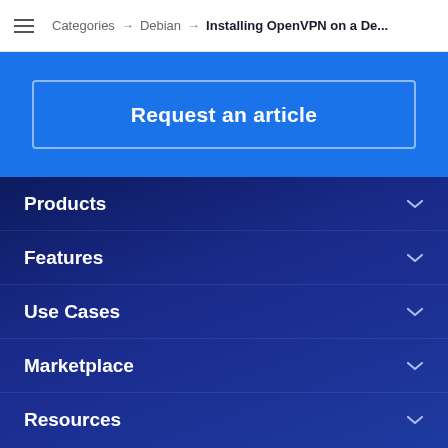Categories → Debian → Installing OpenVPN on a De...
Request an article
Products
Features
Use Cases
Marketplace
Resources